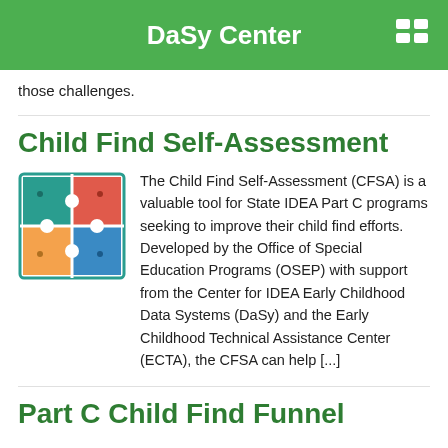DaSy Center
those challenges.
Child Find Self-Assessment
[Figure (illustration): Four puzzle pieces arranged in a 2x2 grid: teal (top-left), red/orange (top-right), yellow/orange (bottom-left), blue (bottom-right), with white puzzle connectors, inside a teal border square.]
The Child Find Self-Assessment (CFSA) is a valuable tool for State IDEA Part C programs seeking to improve their child find efforts. Developed by the Office of Special Education Programs (OSEP) with support from the Center for IDEA Early Childhood Data Systems (DaSy) and the Early Childhood Technical Assistance Center (ECTA), the CFSA can help [...]
Part C Child Find Funnel